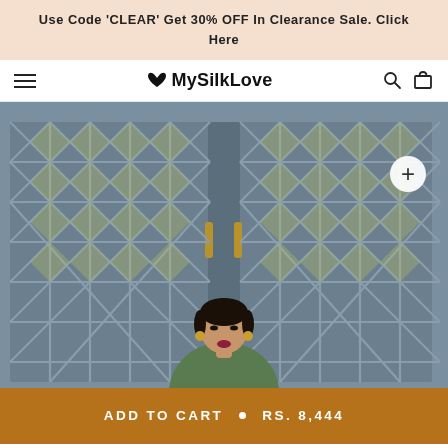Use Code 'CLEAR' Get 30% OFF In Clearance Sale. Click Here
MySilkLove
[Figure (photo): Woman in traditional Indian attire standing in front of ornate grey lattice double doors with glass panes. The doors have a diamond/cross-hatch pattern. The woman has dark hair and is wearing earrings.]
ADD TO CART  •  RS. 8,444